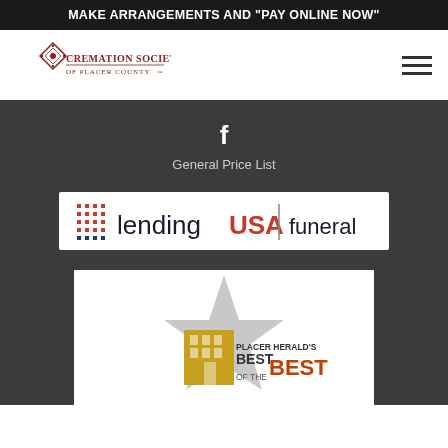MAKE ARRANGEMENTS AND "PAY ONLINE NOW"
[Figure (logo): Cremation Society of Placer County logo with red diamond ornament and serif text]
f
General Price List
[Figure (logo): LendingUSA funeral logo - blue dot grid, 'lending' in dark text, 'USA' in red, vertical divider, 'funeral' in dark text]
[Figure (logo): Placer Herald's Best of the Best award badge with star graphic and building illustration]